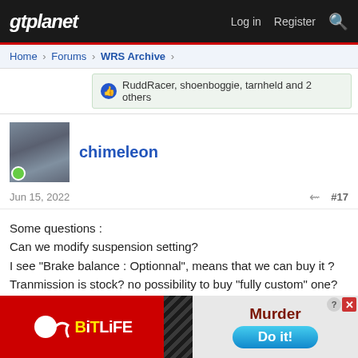gtplanet  Log in  Register
Home > Forums > WRS Archive >
RuddRacer, shoenboggie, tarnheld and 2 others
chimeleon
Jun 15, 2022  #17
Some questions :
Can we modify suspension setting?
I see "Brake balance : Optionnal", means that we can buy it ?
Tranmission is stock? no possibility to buy "fully custom" one?
[Figure (screenshot): BitLife advertisement banner with red background on left showing BitLife logo with yellow and white text, and black section on right showing 'Murder' text and 'Do it!' blue button]